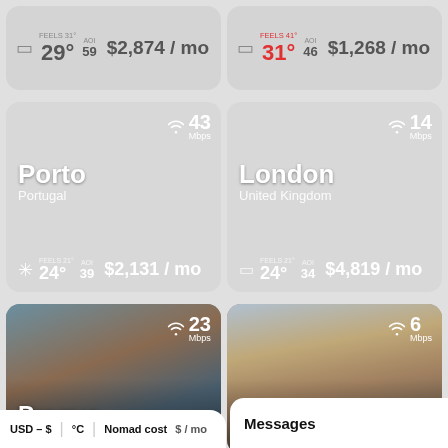[Figure (screenshot): Top-left city card (partial): temperature 29°, feels 31°, AQI 59, cost $2,874/mo]
[Figure (screenshot): Top-right city card (partial): temperature 31° (red, feels 41°), AQI 46, cost $1,268/mo]
[Figure (infographic): Porto, Portugal city card. WiFi 43 Mbps. Temperature 24°, feels 21°, AQI 39. Cost $2,131/mo.]
[Figure (infographic): London, United Kingdom city card. WiFi 14 Mbps. Temperature 24°, feels 21°, AQI 34. Cost $4,819/mo.]
[Figure (photo): Prague, Czechia city card with photo background. WiFi 23 Mbps.]
[Figure (photo): Istanbul, Turkey city card with photo background. WiFi 6 Mbps.]
USD – $   °C   Nomad cost   $ / mo
Messages